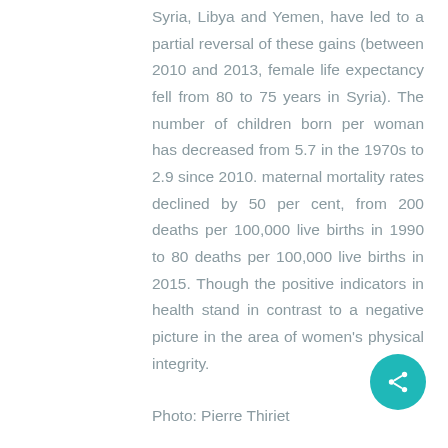Syria, Libya and Yemen, have led to a partial reversal of these gains (between 2010 and 2013, female life expectancy fell from 80 to 75 years in Syria). The number of children born per woman has decreased from 5.7 in the 1970s to 2.9 since 2010. maternal mortality rates declined by 50 per cent, from 200 deaths per 100,000 live births in 1990 to 80 deaths per 100,000 live births in 2015. Though the positive indicators in health stand in contrast to a negative picture in the area of women's physical integrity.
Photo: Pierre Thiriet